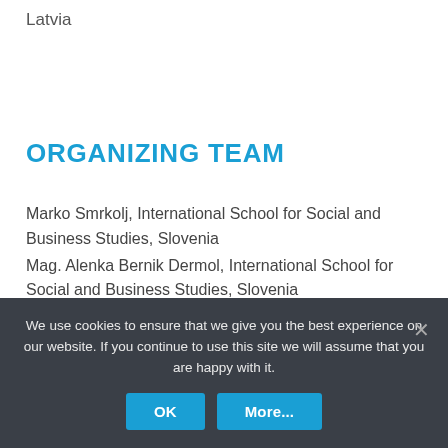Latvia
ORGANIZING TEAM
Marko Smrkolj, International School for Social and Business Studies, Slovenia
Mag. Alenka Bernik Dermol, International School for Social and Business Studies, Slovenia
Špela Dermol, International School for Social and Business
We use cookies to ensure that we give you the best experience on our website. If you continue to use this site we will assume that you are happy with it.